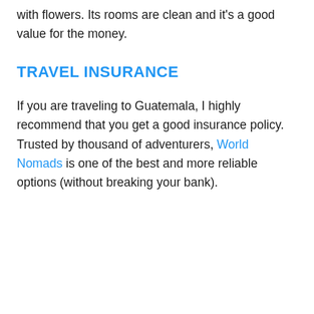with flowers. Its rooms are clean and it's a good value for the money.
TRAVEL INSURANCE
If you are traveling to Guatemala, I highly recommend that you get a good insurance policy. Trusted by thousand of adventurers, World Nomads is one of the best and more reliable options (without breaking your bank).